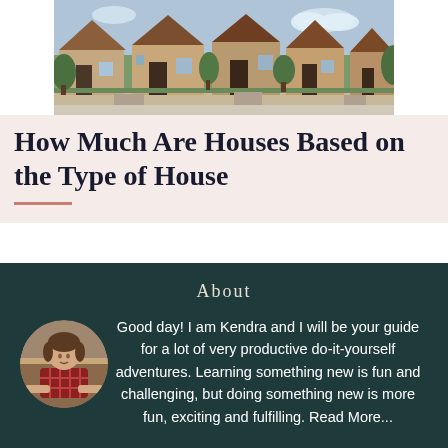[Figure (photo): Row of suburban houses with autumn trees and manicured lawns]
How Much Are Houses Based on the Type of House
About
Good day! I am Kendra and I will be your guide for a lot of very productive do-it-yourself adventures. Learning something new is fun and challenging, but doing something new is more fun, exciting and fulfilling. Read More...